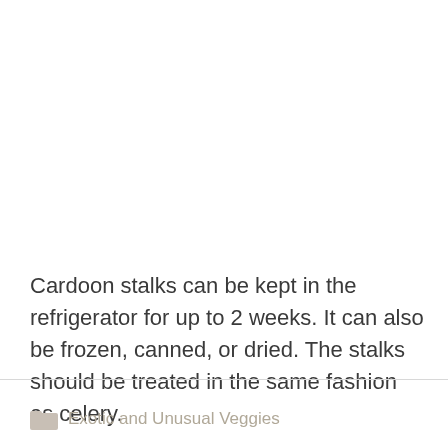Cardoon stalks can be kept in the refrigerator for up to 2 weeks. It can also be frozen, canned, or dried. The stalks should be treated in the same fashion as celery.
Exotic and Unusual Veggies